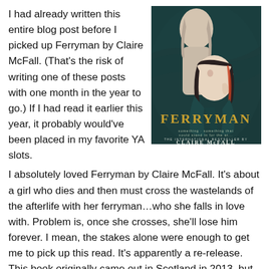I had already written this entire blog post before I picked up Ferryman by Claire McFall. (That's the risk of writing one of these posts with one month in the year to go.) If I had read it earlier this year, it probably would've been placed in my favorite YA slots.
[Figure (illustration): Book cover of Ferryman by Claire McFall showing two figures — a pale androgynous figure in the background and a dark-haired girl in the foreground — against a teal/dark green swirling background. Title 'FERRYMAN' is displayed in gold serif letters. Below reads 'THE INTERNATIONAL BESTSELLER BY CLAIRE McFALL'.]
I absolutely loved Ferryman by Claire McFall. It's about a girl who dies and then must cross the wastelands of the afterlife with her ferryman…who she falls in love with. Problem is, once she crosses, she'll lose him forever. I mean, the stakes alone were enough to get me to pick up this read. It's apparently a re-release. This book originally came out in Scotland in 2013, but released in the US this year. There are two more books in the